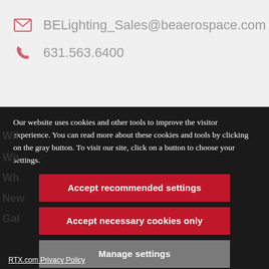BELighting_Sales@beaerospace.com
631.563.6400
Our website uses cookies and other tools to improve the visitor experience. You can read more about these cookies and tools by clicking on the gray button. To visit our site, click on a button to choose your settings.
Accept recommended settings
Accept necessary cookies only
Manage settings
RTX.com Privacy Policy